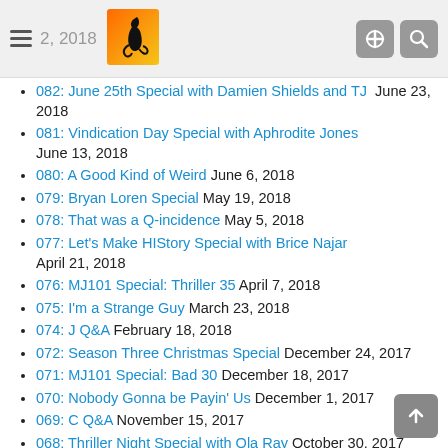2, 2018
082: June 25th Special with Damien Shields and TJ  June 23, 2018
081: Vindication Day Special with Aphrodite Jones  June 13, 2018
080: A Good Kind of Weird  June 6, 2018
079: Bryan Loren Special  May 19, 2018
078: That was a Q-incidence  May 5, 2018
077: Let's Make HIStory Special with Brice Najar  April 21, 2018
076: MJ101 Special: Thriller 35  April 7, 2018
075: I'm a Strange Guy  March 23, 2018
074: J Q&A  February 18, 2018
072: Season Three Christmas Special  December 24, 2017
071: MJ101 Special: Bad 30  December 18, 2017
070: Nobody Gonna be Payin' Us  December 1, 2017
069: C Q&A  November 15, 2017
068: Thriller Night Special with Ola Ray  October 30, 2017
067: Joseph Vogel Special  October 21, 2017
066: Long Hair Don't Care  October 7, 2017
065: Hector Bariot Special  September 16, 2017